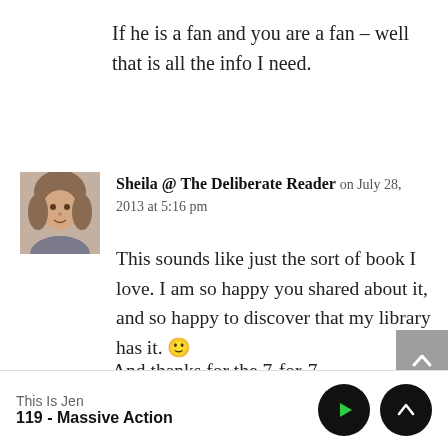If he is a fan and you are a fan – well that is all the info I need.
Sheila @ The Deliberate Reader on July 28, 2013 at 5:16 pm
This sounds like just the sort of book I love. I am so happy you shared about it, and so happy to discover that my library has it. 🙂
And thanks for the 7-for-7 inspiration. It
This Is Jen
119 - Massive Action